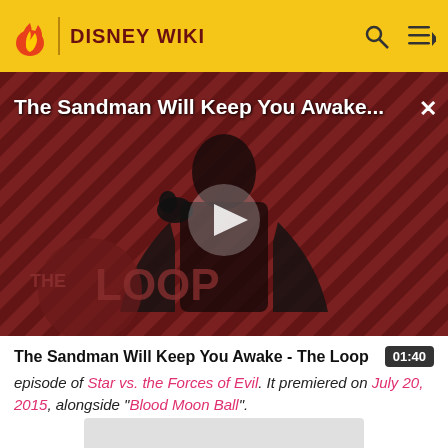DISNEY WIKI
[Figure (screenshot): Video thumbnail showing a dark-cloaked figure against a red and black diagonal striped background, with 'THE LOOP' branding and a play button overlay. Title reads 'The Sandman Will Keep You Awake...']
The Sandman Will Keep You Awake - The Loop
episode of Star vs. the Forces of Evil. It premiered on July 20, 2015, alongside "Blood Moon Ball".